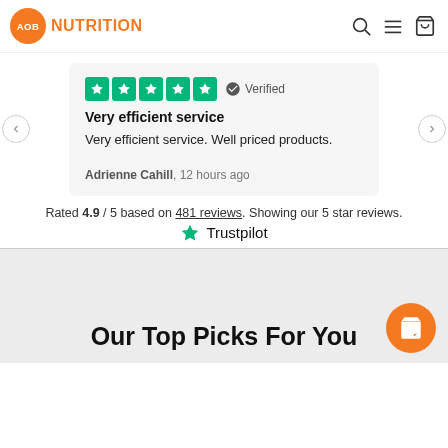AOB NUTRITION
Very efficient service
Very efficient service. Well priced products.
Adrienne Cahill, 12 hours ago
Rated 4.9 / 5 based on 481 reviews. Showing our 5 star reviews.
[Figure (logo): Trustpilot logo with green star]
Our Top Picks For You